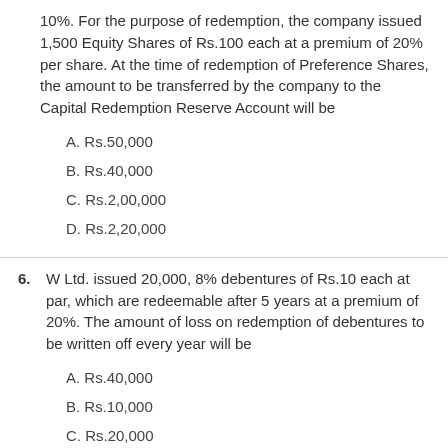10%. For the purpose of redemption, the company issued 1,500 Equity Shares of Rs.100 each at a premium of 20% per share. At the time of redemption of Preference Shares, the amount to be transferred by the company to the Capital Redemption Reserve Account will be
A. Rs.50,000
B. Rs.40,000
C. Rs.2,00,000
D. Rs.2,20,000
6. W Ltd. issued 20,000, 8% debentures of Rs.10 each at par, which are redeemable after 5 years at a premium of 20%. The amount of loss on redemption of debentures to be written off every year will be
A. Rs.40,000
B. Rs.10,000
C. Rs.20,000
D. Rs.8,000